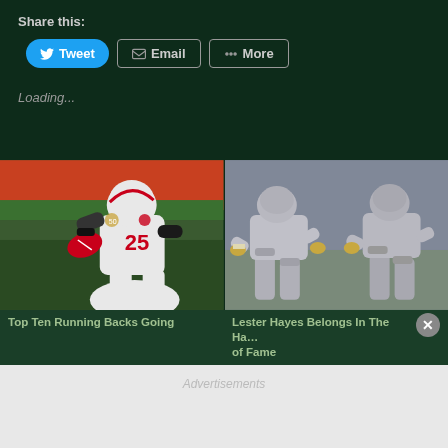Share this:
Tweet  Email  More
Loading...
Related
[Figure (photo): NFL player #25 in white Kansas City Chiefs uniform running with football]
[Figure (photo): Vintage football players in grey uniforms in defensive stance]
Top Ten Running Backs Going
Lester Hayes Belongs In The Hall of Fame
Advertisements